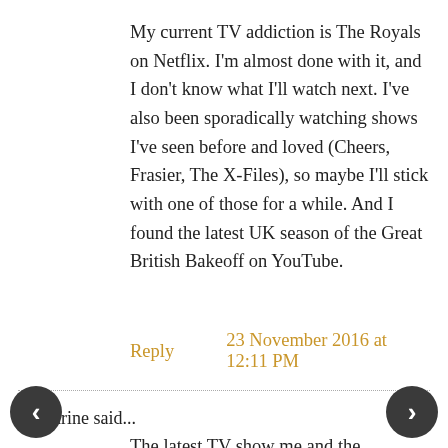My current TV addiction is The Royals on Netflix. I'm almost done with it, and I don't know what I'll watch next. I've also been sporadically watching shows I've seen before and loved (Cheers, Frasier, The X-Files), so maybe I'll stick with one of those for a while. And I found the latest UK season of the Great British Bakeoff on YouTube.
Reply    23 November 2016 at 12:11 PM
Katharine said...
The latest TV show me and the hubby can agree on is RAY DONOVAN, all three seasons available at your local library